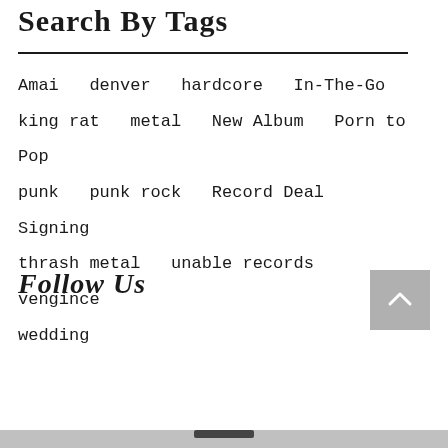Search By Tags
Amai   denver   hardcore   In-The-Go   king rat   metal   New Album   Porn to Pop   punk   punk rock   Record Deal   Signing   thrash metal   unable records   vengince   wedding
Follow Us